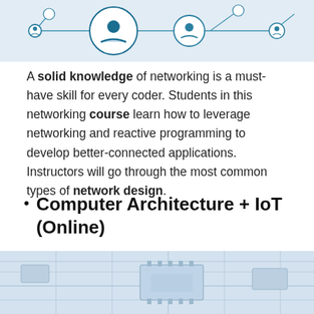[Figure (illustration): Network diagram illustration showing connected nodes with person/user icons in teal/blue color on light grey background — partial view cropped at top]
A solid knowledge of networking is a must-have skill for every coder. Students in this networking course learn how to leverage networking and reactive programming to develop better-connected applications. Instructors will go through the most common types of network design.
Computer Architecture + IoT (Online)
[Figure (photo): Close-up photo of a circuit board with microchips and circuit traces in light blue/grey tones — partial view cropped at bottom]